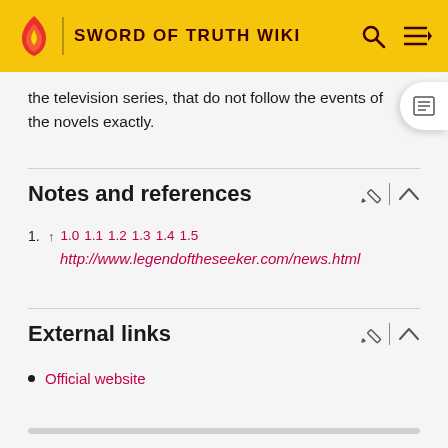SWORD OF TRUTH WIKI
the television series, that do not follow the events of the novels exactly.
Notes and references
1. ↑ 1.0 1.1 1.2 1.3 1.4 1.5
http://www.legendoftheseeker.com/news.html
External links
Official website